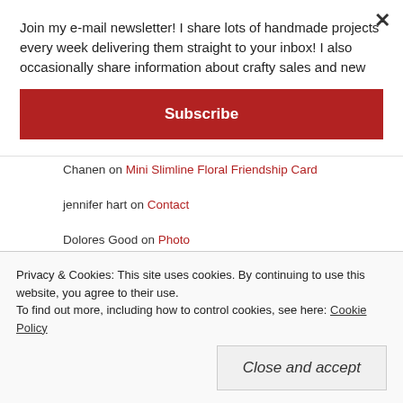Join my e-mail newsletter! I share lots of handmade projects every week delivering them straight to your inbox! I also occasionally share information about crafty sales and new
Subscribe
Chanen on Mini Slimline Floral Friendship Card
jennifer hart on Contact
Dolores Good on Photo
[Figure (other): Dashed border placeholder image box]
Privacy & Cookies: This site uses cookies. By continuing to use this website, you agree to their use.
To find out more, including how to control cookies, see here: Cookie Policy
Close and accept